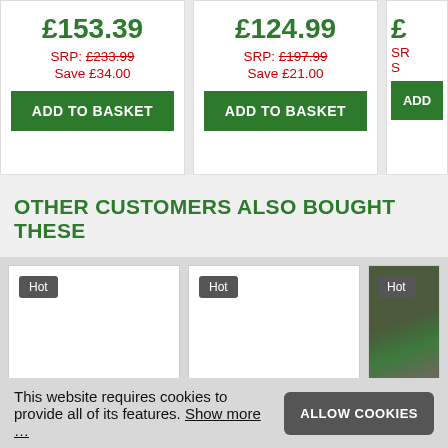£153.39
SRP: £233.99
Save £34.00
ADD TO BASKET
£124.99
SRP: £197.99
Save £21.00
ADD TO BASKET
£ [partial]
SR [partial]
S [partial]
ADD [partial]
OTHER CUSTOMERS ALSO BOUGHT THESE
[Figure (screenshot): Product thumbnail card with Hot badge, white background]
[Figure (screenshot): Product thumbnail card with Hot badge, white background]
[Figure (photo): Partial product thumbnail card with Hot badge, shows garden/outdoor image]
This website requires cookies to provide all of its features. Show more …
ALLOW COOKIES